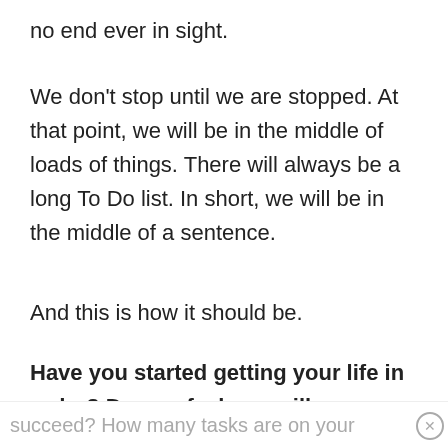no end ever in sight.
We don't stop until we are stopped. At that point, we will be in the middle of loads of things. There will always be a long To Do list. In short, we will be in the middle of a sentence.
And this is how it should be.
Have you started getting your life in order? Do you feel you will ever
succeed? How many tasks are on your